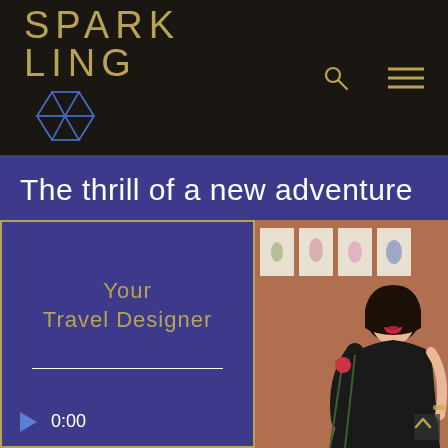[Figure (logo): SPARKLING logo with gold text and blue diamond geometric icon on dark background]
The thrill of a new adventure
[Figure (screenshot): Media player panel with blue background, gold border, 'Your Travel Designer' text, horizontal divider, play button and 0:00 timer. Right half shows photo of a smiling Asian woman in black dress holding flowers, standing in front of botanical artworks.]